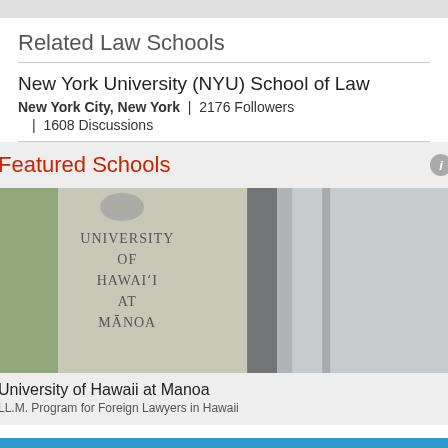Related Law Schools
New York University (NYU) School of Law
New York City, New York  |  2176 Followers
|  1608 Discussions
Featured Schools
[Figure (photo): Photo of University of Hawaii at Manoa sign showing 'UNIVERSITY OF HAWAIʻI AT MĀNOA' text on a light-colored pillar, with foliage on the left and a blurred wall/tree on the right]
University of Hawaii at Manoa
LL.M. Program for Foreign Lawyers in Hawaii